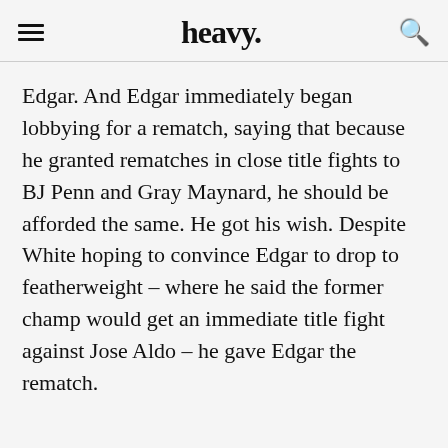heavy.
Edgar. And Edgar immediately began lobbying for a rematch, saying that because he granted rematches in close title fights to BJ Penn and Gray Maynard, he should be afforded the same. He got his wish. Despite White hoping to convince Edgar to drop to featherweight – where he said the former champ would get an immediate title fight against Jose Aldo – he gave Edgar the rematch.